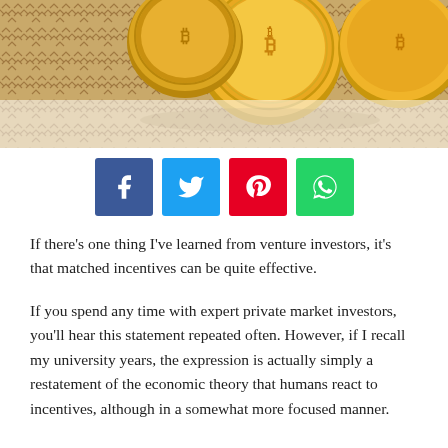[Figure (photo): Gold Bitcoin coins arranged on a geometric patterned background (tan/brown chevron/diamond pattern), photographed from above]
[Figure (infographic): Social sharing buttons row: Facebook (blue), Twitter (light blue), Pinterest (red), WhatsApp (green), each with respective icon]
If there's one thing I've learned from venture investors, it's that matched incentives can be quite effective.
If you spend any time with expert private market investors, you'll hear this statement repeated often. However, if I recall my university years, the expression is actually simply a restatement of the economic theory that humans react to incentives, although in a somewhat more focused manner.